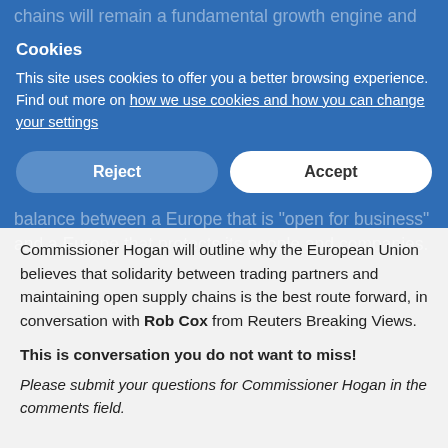chains will remain a fundamental growth engine and be essential for Europe's recovery. With this in mind, Europe will pursue a model of 'open strategic autonomy' — shaping a strong post-COVID global trade and investment environment, with a fit-for-purpose international rulebook underpinning it. Learn why Europe is advocating is a model of "Open Strategic Autonomy": policies to achieve the right balance between a Europe that is "open for business" and a Europe that protects its people and companies.
Cookies
This site uses cookies to offer you a better browsing experience. Find out more on how we use cookies and how you can change your settings
Reject
Accept
Commissioner Hogan will outline why the European Union believes that solidarity between trading partners and maintaining open supply chains is the best route forward, in conversation with Rob Cox from Reuters Breaking Views.
This is conversation you do not want to miss!
Please submit your questions for Commissioner Hogan in the comments field.